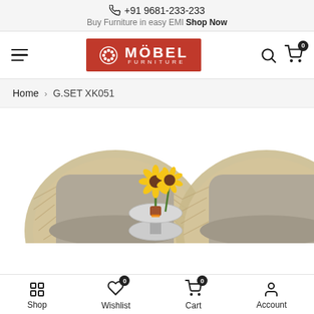+91 9681-233-233
Buy Furniture in easy EMI Shop Now
[Figure (logo): Möbel Furniture logo — red rectangle with white ornament and text]
Home > G.SET XK051
[Figure (photo): Two round wicker outdoor chairs with grey cushions and a small round side table with yellow sunflowers]
Shop  Wishlist 0  Cart 0  Account